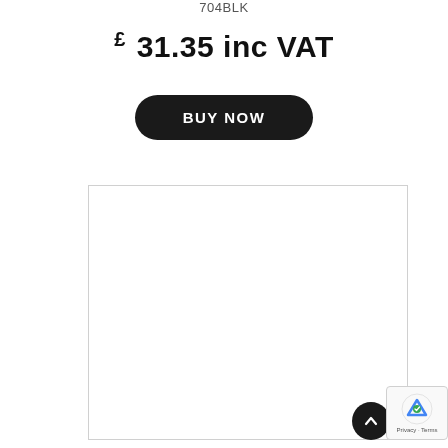704BLK
£ 31.35 inc VAT
BUY NOW
[Figure (other): White product image area with border, mostly blank/white content visible]
[Figure (other): reCAPTCHA badge with Privacy and Terms text]